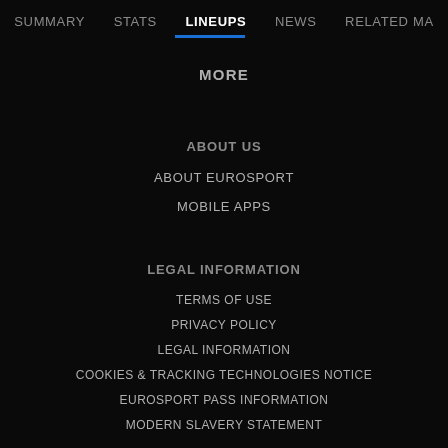SUMMARY   STATS   LINEUPS   NEWS   RELATED MA
MORE
ABOUT US
ABOUT EUROSPORT
MOBILE APPS
LEGAL INFORMATION
TERMS OF USE
PRIVACY POLICY
LEGAL INFORMATION
COOKIES & TRACKING TECHNOLOGIES NOTICE
EUROSPORT PASS INFORMATION
MODERN SLAVERY STATEMENT